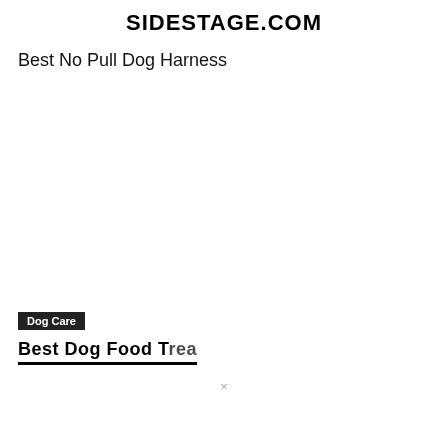SIDESTAGE.COM
Best No Pull Dog Harness
[Figure (photo): Large white/blank image area, likely a photo of a dog harness (not visible in this crop)]
Dog Care
Best Dog Food...